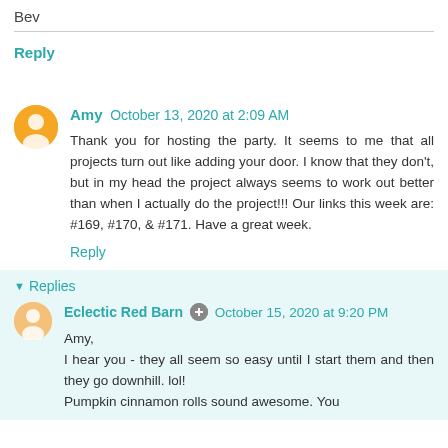Bev
Reply
Amy  October 13, 2020 at 2:09 AM
Thank you for hosting the party. It seems to me that all projects turn out like adding your door. I know that they don't, but in my head the project always seems to work out better than when I actually do the project!!! Our links this week are: #169, #170, & #171. Have a great week.
Reply
Replies
Eclectic Red Barn  October 15, 2020 at 9:20 PM
Amy,
I hear you - they all seem so easy until I start them and then they go downhill. lol!
Pumpkin cinnamon rolls sound awesome. You